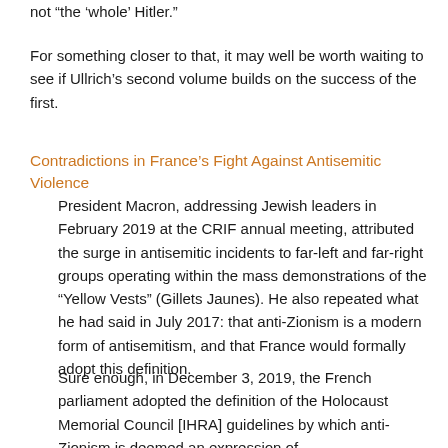not “the ‘whole’ Hitler.”
For something closer to that, it may well be worth waiting to see if Ullrich’s second volume builds on the success of the first.
Contradictions in France’s Fight Against Antisemitic Violence
President Macron, addressing Jewish leaders in February 2019 at the CRIF annual meeting, attributed the surge in antisemitic incidents to far-left and far-right groups operating within the mass demonstrations of the “Yellow Vests” (Gillets Jaunes). He also repeated what he had said in July 2017: that anti-Zionism is a modern form of antisemitism, and that France would formally adopt this definition.
Sure enough, in December 3, 2019, the French parliament adopted the definition of the Holocaust Memorial Council [IHRA] guidelines by which anti-Zionism is deemed an expression of antisemitism. The decision did become...